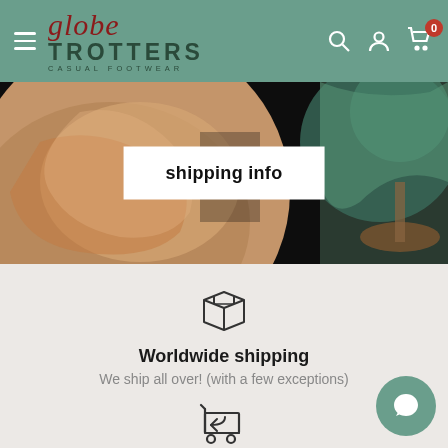[Figure (logo): Globe Trotters Casual Footwear logo in teal navigation bar]
[Figure (photo): Close-up photo of an antique globe with a white 'shipping info' label overlay in the center]
shipping info
[Figure (illustration): Package/box icon (line drawing)]
Worldwide shipping
We ship all over! (with a few exceptions)
[Figure (illustration): Return shopping cart icon (line drawing)]
Not quite right?